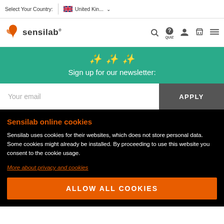Select Your Country: United Kin...
[Figure (logo): Sensilab logo with orange butterfly/leaf icon and nav icons (search, quiz, account, basket, menu)]
Sign up for our newsletter:
Your email   APPLY
Sensilab online cookies
Sensilab uses cookies for their websites, which does not store personal data. Some cookies might already be installed. By proceeding to use this website you consent to the cookie usage.
More about privacy and cookies
ALLOW ALL COOKIES